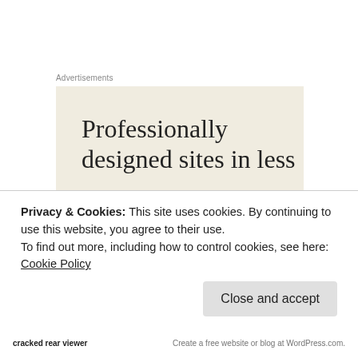Advertisements
[Figure (other): Advertisement banner with beige background showing text 'Professionally designed sites in less']
Based on the novel The Island of Dr. Moreau by H.G. Wells, the film begins with shipwrecked Edward Parker being rescued by The Covena, a cargo ship carrying a freight of wild animals to the uncharted island of Dr.
Privacy & Cookies: This site uses cookies. By continuing to use this website, you agree to their use.
To find out more, including how to control cookies, see here: Cookie Policy
Close and accept
cracked rear viewer | Create a free website or blog at WordPress.com.